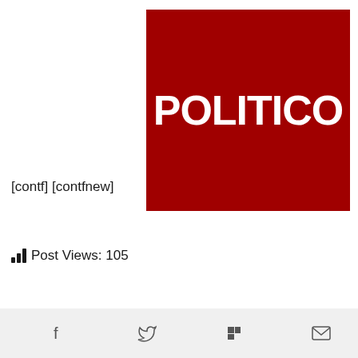[Figure (logo): POLITICO logo — white bold text on dark red square background]
[contf] [contfnew]
Post Views: 105
In this article:
[Figure (other): Social share bar with icons for Facebook, Twitter, Flipboard, and email/envelope]